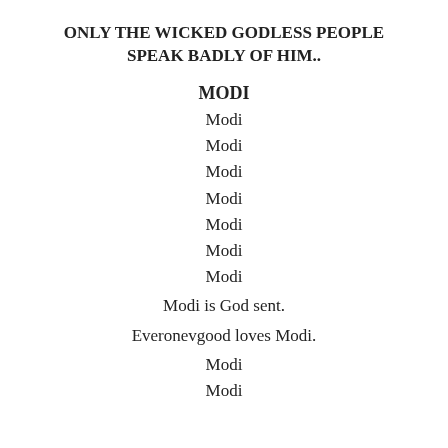ONLY THE WICKED GODLESS PEOPLE SPEAK BADLY OF HIM..
MODI
Modi
Modi
Modi
Modi
Modi
Modi
Modi
Modi is God sent.
Everonevgood loves Modi.
Modi
Modi